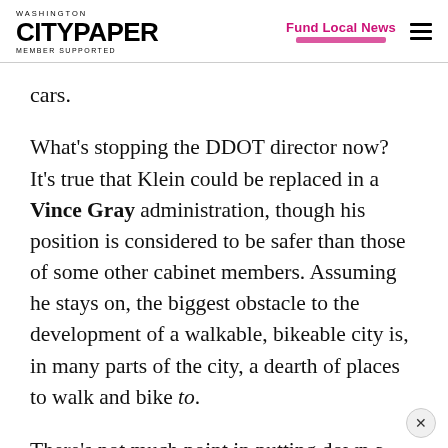Washington City Paper — MEMBER SUPPORTED | Fund Local News
cars.
What's stopping the DDOT director now? It's true that Klein could be replaced in a Vince Gray administration, though his position is considered to be safer than those of some other cabinet members. Assuming he stays on, the biggest obstacle to the development of a walkable, bikeable city is, in many parts of the city, a dearth of places to walk and bike to.
There's not much point in putting down a